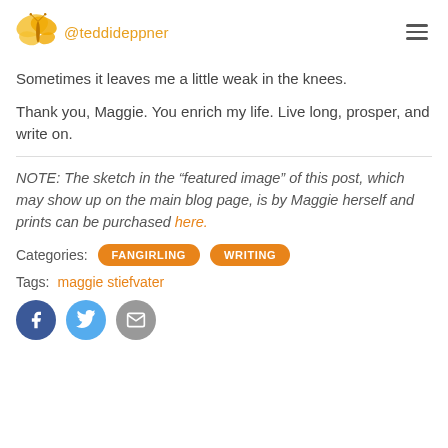@teddideppner
Sometimes it leaves me a little weak in the knees.
Thank you, Maggie. You enrich my life. Live long, prosper, and write on.
NOTE: The sketch in the “featured image” of this post, which may show up on the main blog page, is by Maggie herself and prints can be purchased here.
Categories: FANGIRLING  WRITING
Tags: maggie stiefvater